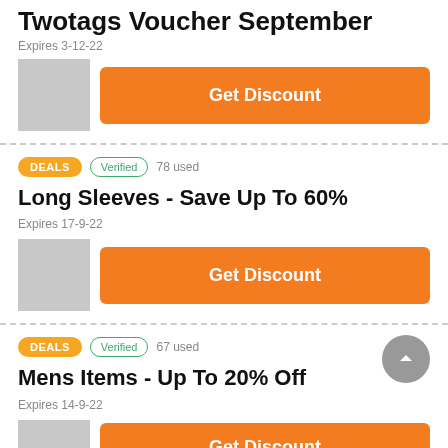Twotags Voucher September
Expires 3-12-22
[Figure (other): Placeholder thumbnail image (gray box)]
Get Discount
DEALS  Verified  78 used
Long Sleeves - Save Up To 60%
Expires 17-9-22
[Figure (other): Placeholder thumbnail image (gray box)]
Get Discount
DEALS  Verified  67 used
Mens Items - Up To 20% Off
Expires 14-9-22
[Figure (other): Placeholder thumbnail image (gray box)]
Get Discount